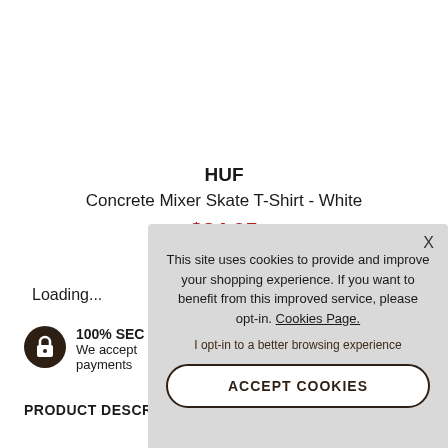HUF
Concrete Mixer Skate T-Shirt - White
$34.95
Loading...
100% SECURE
We accept payments
PRODUCT DESCRIP
This site uses cookies to provide and improve your shopping experience. If you want to benefit from this improved service, please opt-in. Cookies Page.
I opt-in to a better browsing experience
ACCEPT COOKIES